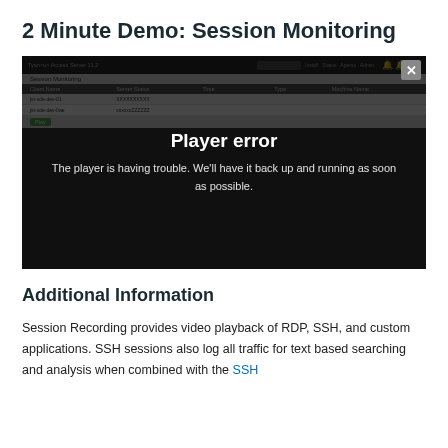2 Minute Demo: Session Monitoring
[Figure (screenshot): A screenshot of a Session Monitoring web application interface showing a table with session data. Overlaid on the screenshot is a video player error message: 'Player error' and 'The player is having trouble. We'll have it back up and running as soon as possible.' with a close (X) button in the top-right corner.]
Additional Information
Session Recording provides video playback of RDP, SSH, and custom applications. SSH sessions also log all traffic for text based searching and analysis when combined with the SSH